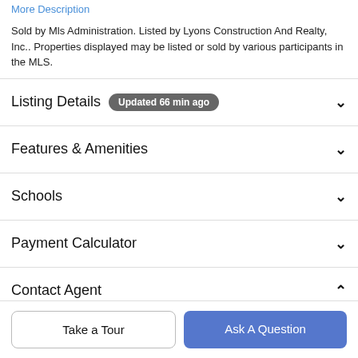More Description
Sold by Mls Administration. Listed by Lyons Construction And Realty, Inc.. Properties displayed may be listed or sold by various participants in the MLS.
Listing Details  Updated 66 min ago
Features & Amenities
Schools
Payment Calculator
Contact Agent
Take a Tour
Ask A Question